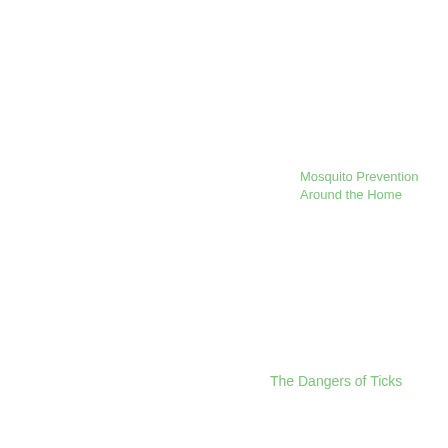Mosquito Prevention Around the Home
The Dangers of Ticks